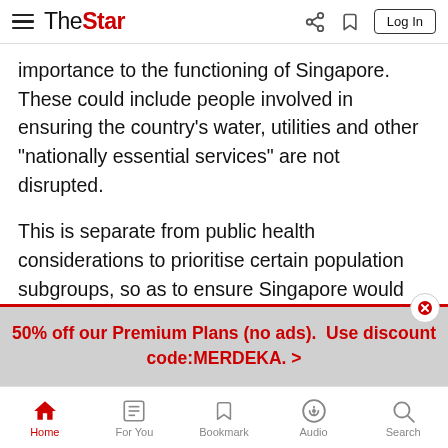The Star — Log In
importance to the functioning of Singapore. These could include people involved in ensuring the country's water, utilities and other "nationally essential services" are not disrupted.
This is separate from public health considerations to prioritise certain population subgroups, so as to ensure Singapore would be able to continue functioning effectively amid a local outbreak, said the committee.
But the detailed identification of these groups is beyond the remit of the expert committee, it said, and will be left to the
50% off our Premium Plans (no ads).  Use discount code:MERDEKA.  >
Home   For You   Bookmark   Audio   Search